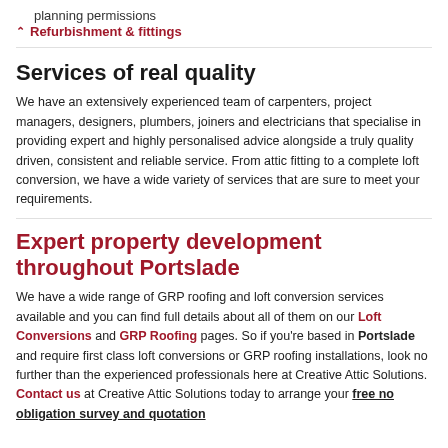planning permissions
Refurbishment & fittings
Services of real quality
We have an extensively experienced team of carpenters, project managers, designers, plumbers, joiners and electricians that specialise in providing expert and highly personalised advice alongside a truly quality driven, consistent and reliable service. From attic fitting to a complete loft conversion, we have a wide variety of services that are sure to meet your requirements.
Expert property development throughout Portslade
We have a wide range of GRP roofing and loft conversion services available and you can find full details about all of them on our Loft Conversions and GRP Roofing pages. So if you're based in Portslade and require first class loft conversions or GRP roofing installations, look no further than the experienced professionals here at Creative Attic Solutions. Contact us at Creative Attic Solutions today to arrange your free no obligation survey and quotation.